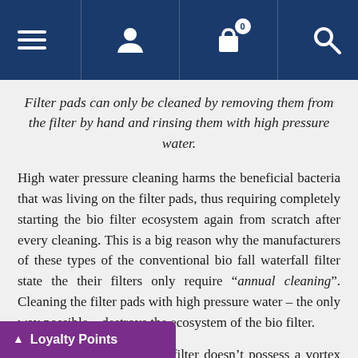Navigation bar with menu, user, cart (0), and search icons
Filter pads can only be cleaned by removing them from the filter by hand and rinsing them with high pressure water.
High water pressure cleaning harms the beneficial bacteria that was living on the filter pads, thus requiring completely starting the bio filter ecosystem again from scratch after every cleaning. This is a big reason why the manufacturers of these types of the conventional bio fall waterfall filter state the their filters only require “annual cleaning”. Cleaning the filter pads with high pressure water – the only way possible – destroys the ecosystem of the bio filter.
The conventional waterfall filter doesn’t possess a vortex water motion or settlement chamber inside dy – there is no pre-bio stage solids